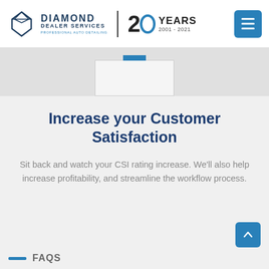[Figure (logo): Diamond Dealer Services logo with diamond shape graphic, text 'DIAMOND DEALER SERVICES' and tagline 'PROFESSIONAL AUTO DETAILING', plus '20 YEARS 2001-2021' anniversary badge]
[Figure (screenshot): Partial image placeholder visible at top of content area with a blue tab at top center]
Increase your Customer Satisfaction
Sit back and watch your CSI rating increase. We'll also help increase profitability, and streamline the workflow process.
FAQS